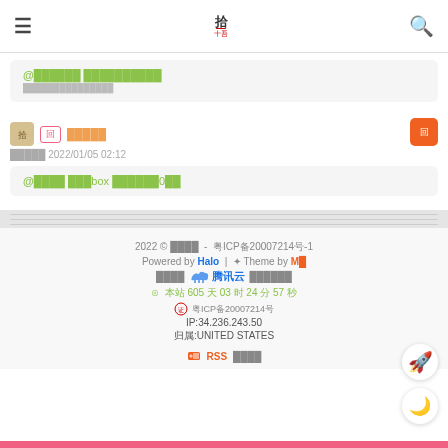≡ [logo] 🔍
@█████ ██████████
[user avatar] 回 █████
█████ 2022/01/05 02:12
@████ ███box ██████0██
2022 © ████ - 粤ICP备20007214号-1 Powered by Halo | ✦ Theme by M █ ████ 腾讯云 █████ ⊙ 本站 605 天 03 时 24 分 57 秒 粤ICP备20007214号 IP:34.236.243.50 归属:UNITED STATES RSS 订阅